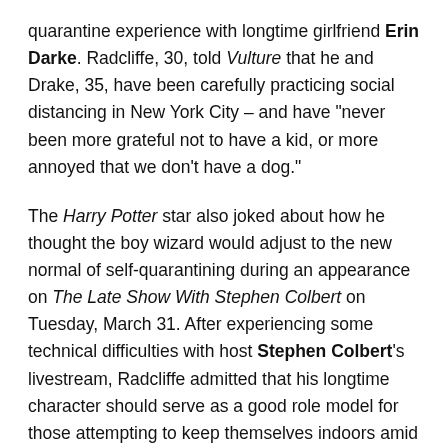quarantine experience with longtime girlfriend Erin Darke. Radcliffe, 30, told Vulture that he and Drake, 35, have been carefully practicing social distancing in New York City – and have "never been more grateful not to have a kid, or more annoyed that we don't have a dog."
The Harry Potter star also joked about how he thought the boy wizard would adjust to the new normal of self-quarantining during an appearance on The Late Show With Stephen Colbert on Tuesday, March 31. After experiencing some technical difficulties with host Stephen Colbert's livestream, Radcliffe admitted that his longtime character should serve as a good role model for those attempting to keep themselves indoors amid the coronavirus crisis.
"I mean, that's very much the part of the books that I feel like we wanted people to aspire to," the British actor teased, referencing